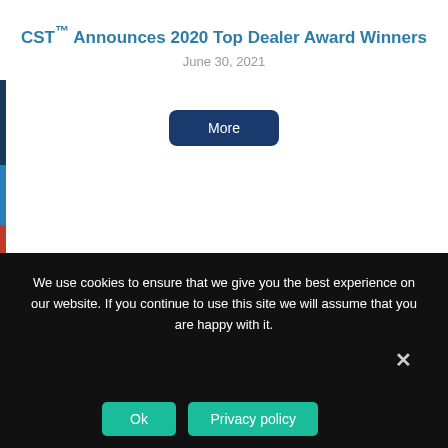CST™ Announces 2020 Top Dealer Award Winners
June 30, 2021
More
Navigation
We use cookies to ensure that we give you the best experience on our website. If you continue to use this site we will assume that you are happy with it.
Ok
Privacy policy